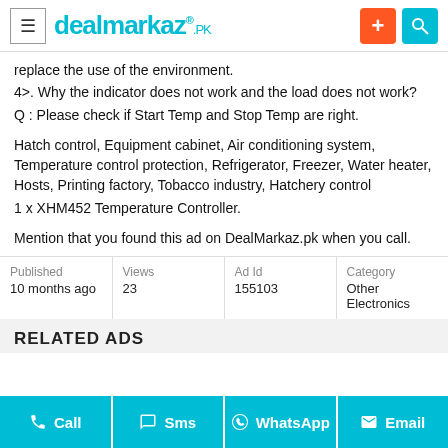dealmarkaz.pk
replace the use of the environment.
4>. Why the indicator does not work and the load does not work?
Q : Please check if Start Temp and Stop Temp are right.

Hatch control, Equipment cabinet, Air conditioning system, Temperature control protection, Refrigerator, Freezer, Water heater, Hosts, Printing factory, Tobacco industry, Hatchery control
1 x XHM452 Temperature Controller.

Mention that you found this ad on DealMarkaz.pk when you call.
| Published | Views | Ad Id | Category |
| --- | --- | --- | --- |
| 10 months ago | 23 | 155103 | Other Electronics |
RELATED ADS
Call | Sms | WhatsApp | Email